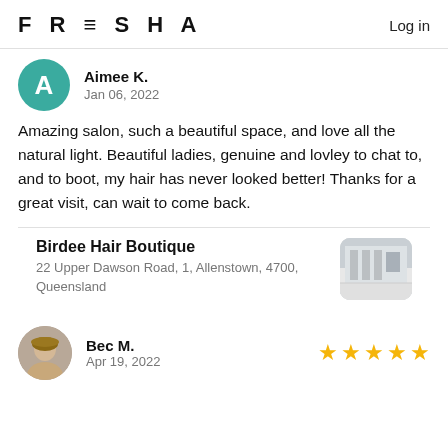FRESHA   Log in
Aimee K.
Jan 06, 2022
Amazing salon, such a beautiful space, and love all the natural light. Beautiful ladies, genuine and lovley to chat to, and to boot, my hair has never looked better! Thanks for a great visit, can wait to come back.
Birdee Hair Boutique
22 Upper Dawson Road, 1, Allenstown, 4700, Queensland
Bec M.
Apr 19, 2022